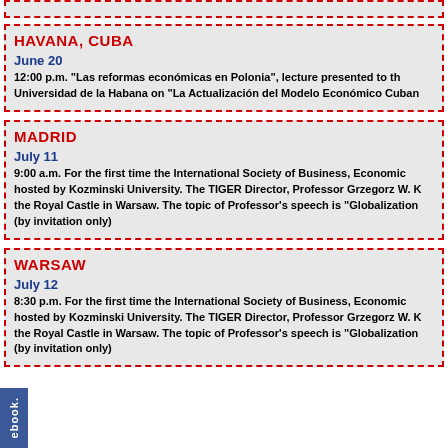HAVANA, CUBA
June 20
12:00 p.m. "Las reformas económicas en Polonia", lecture presented to the Universidad de la Habana on "La Actualización del Modelo Económico Cubano
MADRID
July 11
9:00 a.m. For the first time the International Society of Business, Economics hosted by Kozminski University. The TIGER Director, Professor Grzegorz W. K the Royal Castle in Warsaw. The topic of Professor's speech is "Globalization... (by invitation only)
WARSAW
July 12
8:30 p.m. For the first time the International Society of Business, Economics hosted by Kozminski University. The TIGER Director, Professor Grzegorz W. K the Royal Castle in Warsaw. The topic of Professor's speech is "Globalization... (by invitation only)